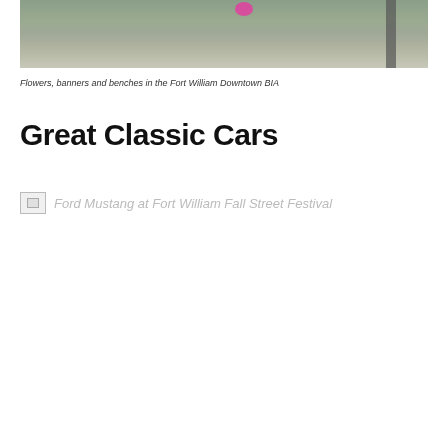[Figure (photo): Partial photo showing trees with foliage and a street pole, flowers including pink blooms visible, foggy/overcast conditions, Fort William Downtown BIA streetscape]
Flowers, banners and benches in the Fort William Downtown BIA
Great Classic Cars
[Figure (photo): Broken/missing image placeholder with alt text: Ford Mustang at Fort William Fall Street Festival]